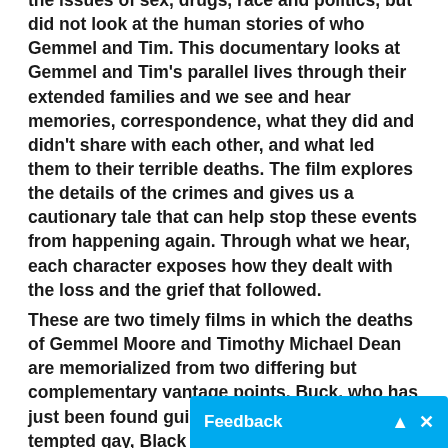the issues of sex, drugs, race and politics, but did not look at the human stories of who Gemmel and Tim. This documentary looks at Gemmel and Tim's parallel lives through their extended families and we see and hear memories, correspondence, what they did and didn't share with each other, and what led them to their terrible deaths. The film explores the details of the crimes and gives us a cautionary tale that can help stop these events from happening again. Through what we hear, each character exposes how they dealt with the loss and the grief that followed.
These are two timely films in which the deaths of Gemmel Moore and Timothy Michael Dean are memorialized from two differing but complementary vantage points. Buck, who has just been found guilty of his crimes, habitually tempted gay, Black men to his home and injected them with high doses of methamphetamine and